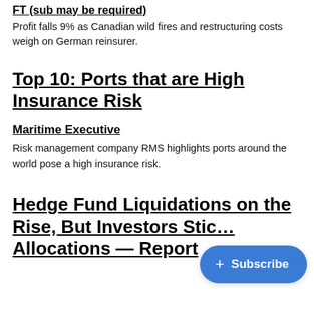FT (sub may be required)
Profit falls 9% as Canadian wild fires and restructuring costs weigh on German reinsurer.
Top 10: Ports that are High Insurance Risk
Maritime Executive
Risk management company RMS highlights ports around the world pose a high insurance risk.
Hedge Fund Liquidations on the Rise, But Investors Stick Allocations — Report